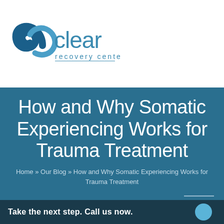[Figure (logo): Clear Recovery Center logo with blue spiral/wave icon and text 'clear recovery center' in teal/blue colors]
How and Why Somatic Experiencing Works for Trauma Treatment
Home » Our Blog » How and Why Somatic Experiencing Works for Trauma Treatment
Take the next step. Call us now.